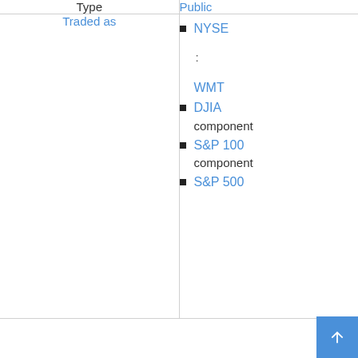| Type |  |
| --- | --- |
| Type | Public |
| Traded as | NYSE : WMT
DJIA component
S&P 100 component
S&P 500 |